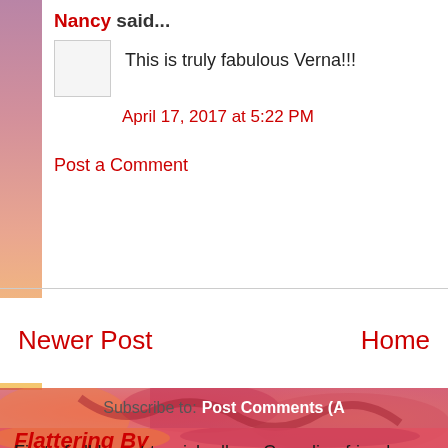Nancy said...
This is truly fabulous Verna!!!
April 17, 2017 at 5:22 PM
Post a Comment
Newer Post
Home
Subscribe to: Post Comments (A
Flattering By
First of all I want to wish all my Canadian friends Day! I hope your day is extra special. This card h